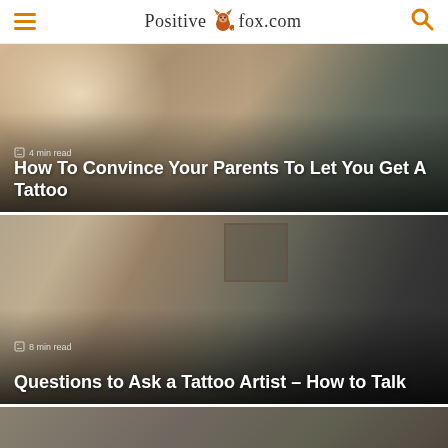PositiveFox.com
[Figure (photo): Two people sitting together, one person appearing to be a teenager and an adult in conversation; warm tones]
How To Convince Your Parents To Let You Get A Tattoo
4 min read
[Figure (photo): A tattoo artist with a beard and tattooed arms drawing on a woman's back/shoulder in a tattoo studio]
Questions to Ask a Tattoo Artist – How to Talk
8 min read
[Figure (photo): Partially visible photo at bottom of page, cropped]